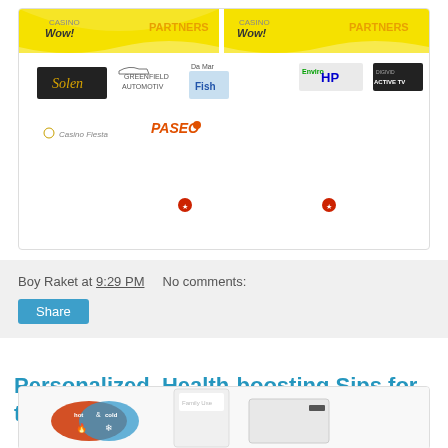[Figure (logo): Partners banner showing two yellow/white header strips labeled 'PARTNERS' with logos: Solen, Greenfield, Da Mar (fish), EnviroHP, DigiVid ActiveTV, Casino Fiesta, Paseo, and two small red icons]
Boy Raket at 9:29 PM    No comments:
Share
Personalized, Health-boosting Sips for the Rainy Season
[Figure (photo): Product photo showing white box dispensers/water purifiers with 'hot & cold' logo badge in red/blue oval, partially visible]